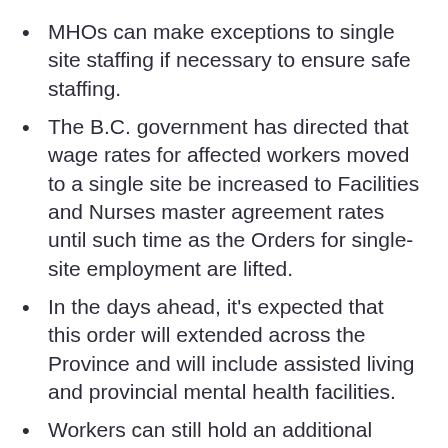MHOs can make exceptions to single site staffing if necessary to ensure safe staffing.
The B.C. government has directed that wage rates for affected workers moved to a single site be increased to Facilities and Nurses master agreement rates until such time as the Orders for single-site employment are lifted.
In the days ahead, it’s expected that this order will extended across the Province and will include assisted living and provincial mental health facilities.
Workers can still hold an additional job(s) in community health or community social services.
At this point single site restriction would exclude long-term care staff from also working in hospitals/acute care. Exemptions